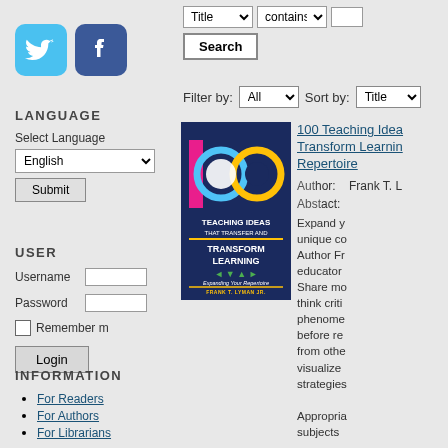[Figure (logo): Twitter social media icon (blue bird)]
[Figure (logo): Facebook social media icon (white f on blue)]
LANGUAGE
Select Language
English
Submit
USER
Username
Password
Remember m
Login
INFORMATION
For Readers
For Authors
For Librarians
Title   contains
Search
Filter by: All   Sort by: Title
[Figure (illustration): Book cover: 100 Teaching Ideas That Transfer and Transform Learning - Expanding Your Repertoire by Frank T. Lyman Jr., Eye On Education / Routledge]
100 Teaching Ideas That Transform Learning Repertoire
Author: Frank T. L
Abstract:
Expand y unique co Author Fr educator Share mo think criti phenome before re from othe visualize strategies

Appropia subjects